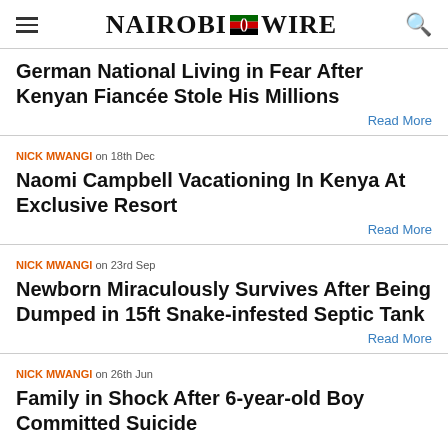NAIROBI WIRE
German National Living in Fear After Kenyan Fiancée Stole His Millions
Read More
NICK MWANGI on 18th Dec
Naomi Campbell Vacationing In Kenya At Exclusive Resort
Read More
NICK MWANGI on 23rd Sep
Newborn Miraculously Survives After Being Dumped in 15ft Snake-infested Septic Tank
Read More
NICK MWANGI on 26th Jun
Family in Shock After 6-year-old Boy Committed Suicide